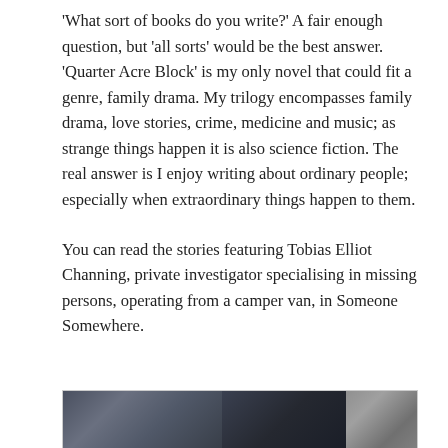'What sort of books do you write?' A fair enough question, but 'all sorts' would be the best answer. 'Quarter Acre Block' is my only novel that could fit a genre, family drama. My trilogy encompasses family drama, love stories, crime, medicine and music; as strange things happen it is also science fiction. The real answer is I enjoy writing about ordinary people; especially when extraordinary things happen to them.

You can read the stories featuring Tobias Elliot Channing, private investigator specialising in missing persons, operating from a camper van, in Someone Somewhere.
[Figure (photo): Partial image at the bottom of the page showing a person or people, partially cropped, with outdoor street scene visible]